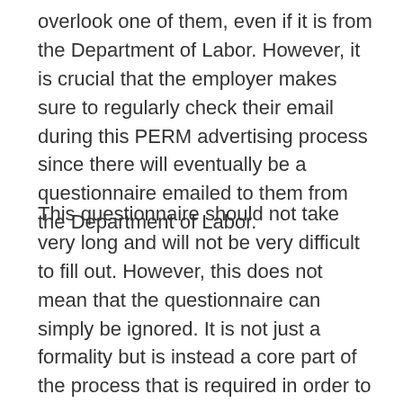overlook one of them, even if it is from the Department of Labor. However, it is crucial that the employer makes sure to regularly check their email during this PERM advertising process since there will eventually be a questionnaire emailed to them from the Department of Labor.
This questionnaire should not take very long and will not be very difficult to fill out. However, this does not mean that the questionnaire can simply be ignored. It is not just a formality but is instead a core part of the process that is required in order to approve an application. Therefore, if an employer does not successfully fill out this questionnaire when they are supposed to,